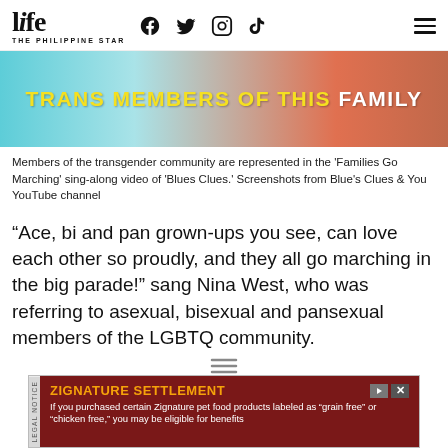life THE PHILIPPINE STAR — social media icons and navigation
[Figure (screenshot): Screenshot from Blues Clues & You YouTube video showing text 'TRANS MEMBERS OF THIS FAMILY' over a colorful animated background]
Members of the transgender community are represented in the 'Families Go Marching' sing-along video of 'Blues Clues.' Screenshots from Blue's Clues & You YouTube channel
“Ace, bi and pan grown-ups you see, can love each other so proudly, and they all go marching in the big parade!” sang Nina West, who was referring to asexual, bisexual and pansexual members of the LGBTQ community.
[Figure (screenshot): Advertisement banner: ZIGNATURE SETTLEMENT - If you purchased certain Zignature pet food products labeled as "grain free" or "chicken free", you may be eligible for benefits]